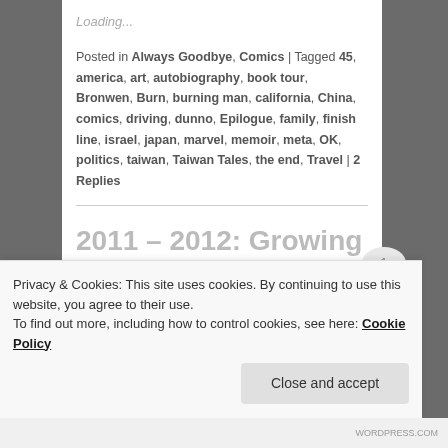Loading...
Posted in Always Goodbye, Comics | Tagged 45, america, art, autobiography, book tour, Bronwen, Burn, burning man, california, China, comics, driving, dunno, Epilogue, family, finish line, israel, japan, marvel, memoir, meta, OK, politics, taiwan, Taiwan Tales, the end, Travel | 2 Replies
2011 – 2012: Growing up, turning 30, weddings, and the end of the world
Privacy & Cookies: This site uses cookies. By continuing to use this website, you agree to their use.
To find out more, including how to control cookies, see here: Cookie Policy
Close and accept